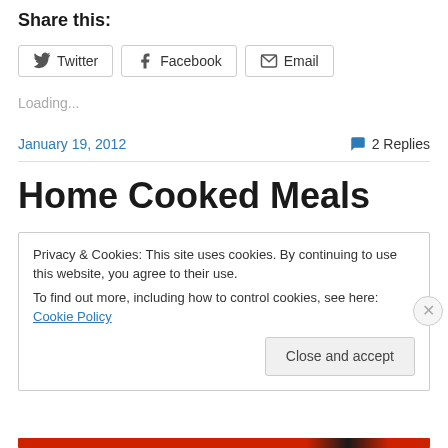Share this:
Twitter
Facebook
Email
Loading...
January 19, 2012
2 Replies
Home Cooked Meals
Privacy & Cookies: This site uses cookies. By continuing to use this website, you agree to their use.
To find out more, including how to control cookies, see here: Cookie Policy
Close and accept